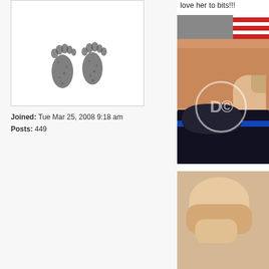[Figure (photo): Baby footprints stamp/ink image used as forum avatar]
Joined: Tue Mar 25, 2008 9:18 am
Posts: 449
love her to bits!!!
[Figure (photo): Photo of adult holding a baby who is holding a dark cup/bottle, adult wearing red and white striped top]
[Figure (photo): Partial photo of baby, cropped at bottom of page]